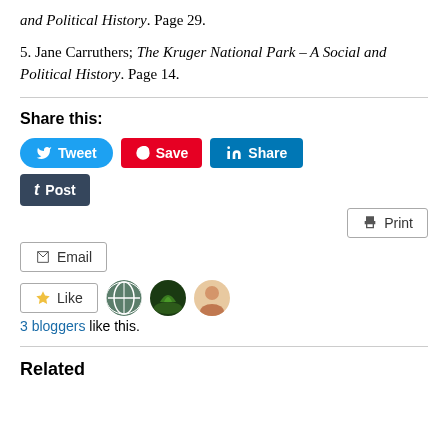and Political History. Page 29.
5. Jane Carruthers; The Kruger National Park – A Social and Political History. Page 14.
Share this:
[Figure (screenshot): Social sharing buttons: Tweet (Twitter/blue), Save (Pinterest/red), Share (LinkedIn/blue), Post (Tumblr/dark), Print button, Email button]
[Figure (screenshot): Like button with star icon, followed by three blogger avatars (globe icon, nature photo, person photo)]
3 bloggers like this.
Related